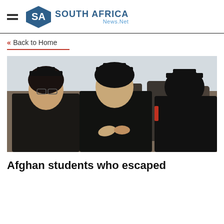SOUTH AFRICA News.Net
« Back to Home
[Figure (photo): Group of graduates in black caps and gowns at a graduation ceremony, including women, one wearing a hijab]
Afghan students who escaped